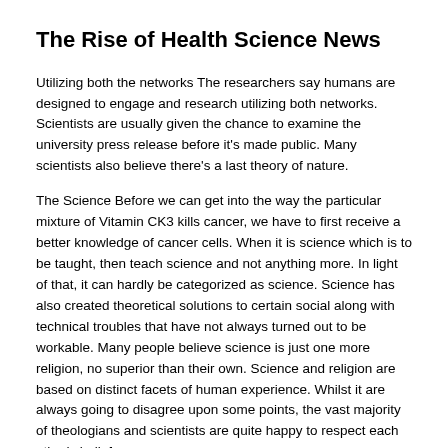The Rise of Health Science News
Utilizing both the networks The researchers say humans are designed to engage and research utilizing both networks. Scientists are usually given the chance to examine the university press release before it's made public. Many scientists also believe there’s a last theory of nature.
The Science Before we can get into the way the particular mixture of Vitamin CK3 kills cancer, we have to first receive a better knowledge of cancer cells. When it is science which is to be taught, then teach science and not anything more. In light of that, it can hardly be categorized as science. Science has also created theoretical solutions to certain social along with technical troubles that have not always turned out to be workable. Many people believe science is just one more religion, no superior than their own. Science and religion are based on distinct facets of human experience. Whilst it are always going to disagree upon some points, the vast majority of theologians and scientists are quite happy to respect each other’s beliefs.
Research shows there are a lot of simple things that you can do in